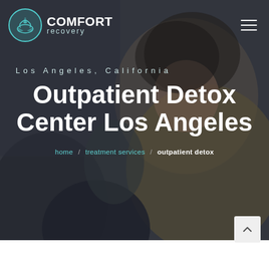[Figure (photo): Hero background image showing smiling woman with curly hair in a yellow cardigan, in a therapy/group session setting, blurred background with people in the foreground]
COMFORT recovery
Los Angeles, California
Outpatient Detox Center Los Angeles
home / treatment services / outpatient detox